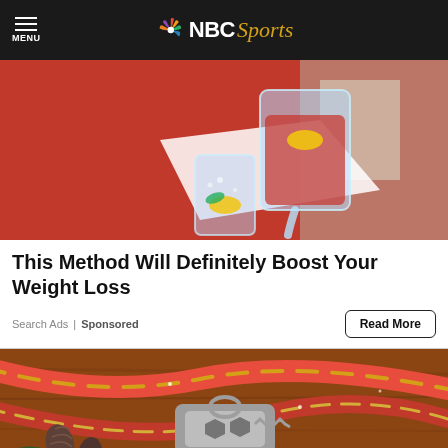MENU | NBC Sports
[Figure (photo): Person in red sweater pouring water with lemon from a glass pitcher into a tall glass]
This Method Will Definitely Boost Your Weight Loss
Search Ads | Sponsored
Read More
[Figure (photo): Multi-tool key gadget on a wooden surface with red Christmas ribbons and pine cones decoration]